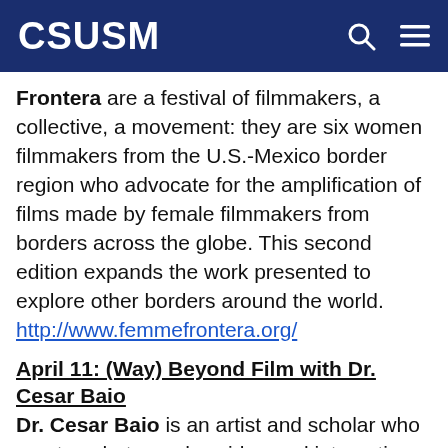CSUSM
Frontera are a festival of filmmakers, a collective, a movement: they are six women filmmakers from the U.S.-Mexico border region who advocate for the amplification of films made by female filmmakers from borders across the globe. This second edition expands the work presented to explore other borders around the world. http://www.femmefrontera.org/
April 11: (Way) Beyond Film with Dr. Cesar Baio
Dr. Cesar Baio is an artist and scholar who creates photography, video and interactive experiences using procedures such as reverse engineering, playful occupation of information networks and subversion of industrial devices. His work triggers discussions about the intersection of technology, internet culture, and creative practice.